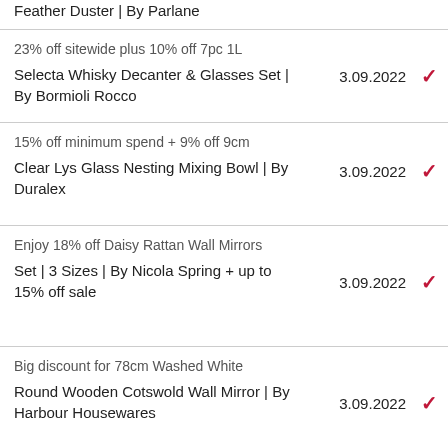Feather Duster | By Parlane
23% off sitewide plus 10% off 7pc 1L Selecta Whisky Decanter & Glasses Set | By Bormioli Rocco | 3.09.2022 ✓
15% off minimum spend + 9% off 9cm Clear Lys Glass Nesting Mixing Bowl | By Duralex | 3.09.2022 ✓
Enjoy 18% off Daisy Rattan Wall Mirrors Set | 3 Sizes | By Nicola Spring + up to 15% off sale | 3.09.2022 ✓
Big discount for 78cm Washed White Round Wooden Cotswold Wall Mirror | By Harbour Housewares | 3.09.2022 ✓